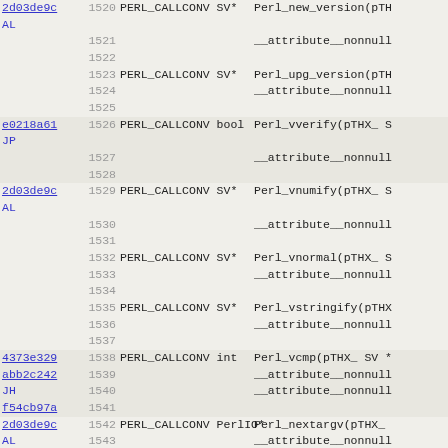| hash | line | callconv | signature |
| --- | --- | --- | --- |
| 2d03de9c AL | 1520 | PERL_CALLCONV SV* | Perl_new_version(pTH... |
|  | 1521 |  | __attribute__nonnull... |
|  | 1522 |  |  |
|  | 1523 | PERL_CALLCONV SV* | Perl_upg_version(pTH... |
|  | 1524 |  | __attribute__nonnull... |
|  | 1525 |  |  |
| e0218a61 JP | 1526 | PERL_CALLCONV bool | Perl_vverify(pTHX_ S... |
|  | 1527 |  | __attribute__nonnull... |
|  | 1528 |  |  |
| 2d03de9c AL | 1529 | PERL_CALLCONV SV* | Perl_vnumify(pTHX_ S... |
|  | 1530 |  | __attribute__nonnull... |
|  | 1531 |  |  |
|  | 1532 | PERL_CALLCONV SV* | Perl_vnormal(pTHX_ S... |
|  | 1533 |  | __attribute__nonnull... |
|  | 1534 |  |  |
|  | 1535 | PERL_CALLCONV SV* | Perl_vstringify(pTHX... |
|  | 1536 |  | __attribute__nonnull... |
|  | 1537 |  |  |
| 4373e329 abb2c242 JH f54cb97a | 1538 | PERL_CALLCONV int | Perl_vcmp(pTHX_ SV *... |
|  | 1539 |  | __attribute__nonnull... |
|  | 1540 |  | __attribute__nonnull... |
|  | 1541 |  |  |
| 2d03de9c AL | 1542 | PERL_CALLCONV PerlIO* | Perl_nextargv(pTHX_... |
|  | 1543 |  | __attribute__nonnull... |
|  | 1544 |  |  |
| 4373e329 2d03de9c AL | 1545 | PERL_CALLCONV char* | Perl_ninstr(pTHX_ co... |
|  | 1546 |  | __attribute__pure__... |
|  | 1547 |  | __attribute__nonnull... |
|  | 1548 |  | __attribute__nonnull... |
|  | 1549 |  | __attribute__nonnull... |
|  | 1550 |  | __attribute__nonnull... |
| f54cb97a AL | 1551 |  |  |
|  | 1552 | PERL_CALLCONV SV* | Perl_... SV*(pTHX_... |